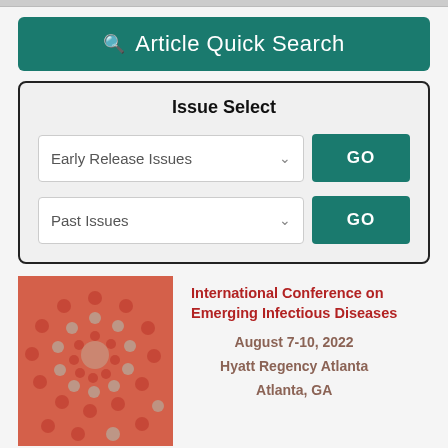Article Quick Search
Issue Select
Early Release Issues
Past Issues
[Figure (illustration): Circular spiral pattern of red/coral dots on salmon background, resembling a virus or cell microscopy image — conference logo for ICEID 2022]
International Conference on Emerging Infectious Diseases
August 7-10, 2022
Hyatt Regency Atlanta
Atlanta, GA